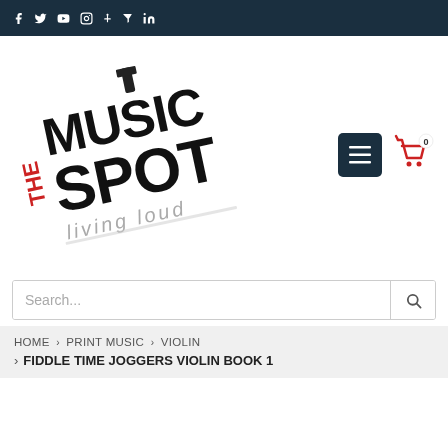f y [youtube] [instagram] p t in
[Figure (logo): The Music Spot logo - rotated square with 'MUSIC SPOT' in large black bold text, 'THE' in red on left side, 'living loud' in grey italic, guitar neck graphic at top]
[Figure (other): Menu button (hamburger icon, dark teal background) and red shopping cart icon with badge showing 0]
Search...
HOME > PRINT MUSIC > VIOLIN > FIDDLE TIME JOGGERS VIOLIN BOOK 1